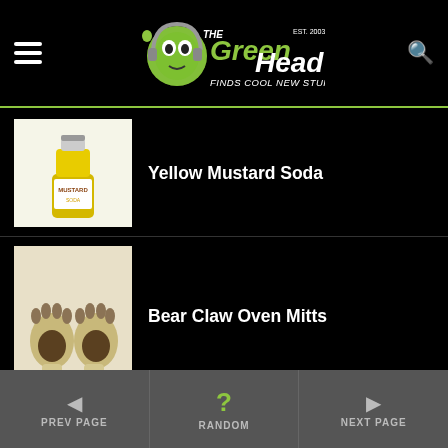[Figure (logo): The Green Head logo - finds cool new stuff, established 2003]
[Figure (photo): Yellow mustard soda bottle]
Yellow Mustard Soda
[Figure (photo): Bear claw oven mitts]
Bear Claw Oven Mitts
[Figure (photo): Margaritaville mixed drink machine with colorful beverages]
Margaritaville Mixed Drink Machine
PREV PAGE   RANDOM   NEXT PAGE